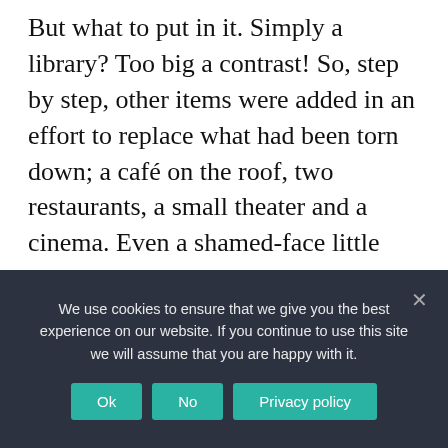But what to put in it. Simply a library? Too big a contrast! So, step by step, other items were added in an effort to replace what had been torn down; a café on the roof, two restaurants, a small theater and a cinema. Even a shamed-face little exhibit about the GDR Palast. But the main content was the Asian Art and Ethnological Museum moved from the city outskirts, one of the world's largest collections of wonderful objets d'art, begged, borrowed or mostly stolen from German colonies before 1918, now Namibia, Togo, Cameroun, Tanzania, Rwanda, Burundi in Africa and New Guinea, Samoa, Palau and
We use cookies to ensure that we give you the best experience on our website. If you continue to use this site we will assume that you are happy with it.
Ok | No | Privacy policy